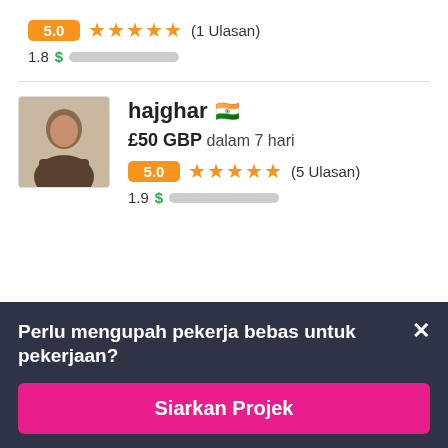5.0 ★★★★★ (1 Ulasan)
1.8 $ [progress bar]
hajghar 🇮🇳
£50 GBP dalam 7 hari
5.0 ★★★★★ (5 Ulasan)
1.9 $ [progress bar]
[Figure (photo): Profile photo of freelancer hajghar]
Perlu mengupah pekerja bebas untuk pekerjaan?
Siarkan Projek